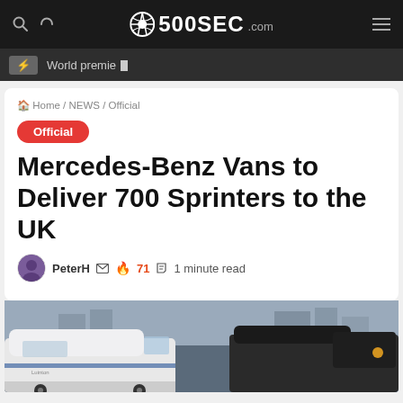500SEC.com
World premie _
Home / NEWS / Official
Official
Mercedes-Benz Vans to Deliver 700 Sprinters to the UK
PeterH  71  1 minute read
[Figure (photo): White Mercedes-Benz Sprinter vans parked in a lot with dark vans and buildings in the background]